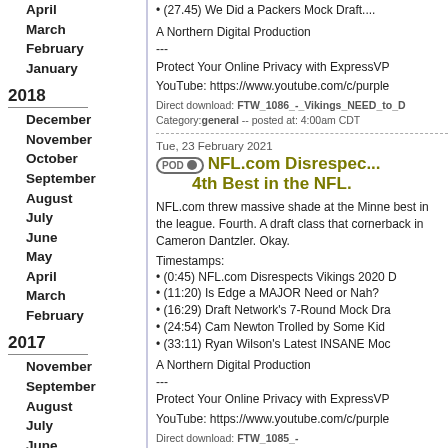April
March
February
January
2018
December
November
October
September
August
July
June
May
April
March
February
2017
November
September
August
July
June
May
April
2016
August
July
June
May
April
• (27.45) We Did a Packers Mock Draft....
A Northern Digital Production
---
Protect Your Online Privacy with ExpressVP
YouTube: https://www.youtube.com/c/purple
Direct download: FTW_1086_-_Vikings_NEED_to_D
Category:general -- posted at: 4:00am CDT
Tue, 23 February 2021
NFL.com Disrespec... 4th Best in the NFL.
NFL.com threw massive shade at the Minne best in the league. Fourth. A draft class that cornerback in Cameron Dantzler. Okay.
Timestamps:
• (0:45) NFL.com Disrespects Vikings 2020 D
• (11:20) Is Edge a MAJOR Need or Nah?
• (16:29) Draft Network's 7-Round Mock Dra
• (24:54) Cam Newton Trolled by Some Kid
• (33:11) Ryan Wilson's Latest INSANE Moc
A Northern Digital Production
---
Protect Your Online Privacy with ExpressVP
YouTube: https://www.youtube.com/c/purple
Direct download: FTW_1085_-_NFL.com_Disrespects_the_Vikings._Ranks_2020
Category:general -- posted at: 4:00am CDT